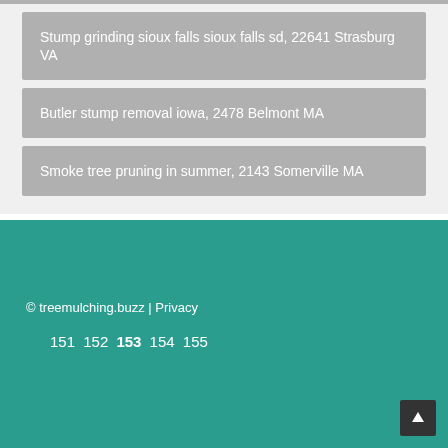Stump grinding sioux falls sioux falls sd, 22641 Strasburg VA
Butler stump removal iowa, 2478 Belmont MA
Smoke tree pruning in summer, 2143 Somerville MA
© treemulching.buzz | Privacy
151 152 153 154 155